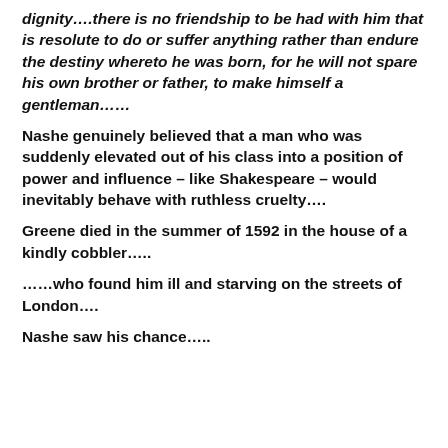dignity….there is no friendship to be had with him that is resolute to do or suffer anything rather than endure the destiny whereto he was born, for he will not spare his own brother or father, to make himself a gentleman……
Nashe genuinely believed that a man who was suddenly elevated out of his class into a position of power and influence – like Shakespeare – would inevitably behave with ruthless cruelty….
Greene died in the summer of 1592 in the house of a kindly cobbler…..
……who found him ill and starving on the streets of London….
Nashe saw his chance…..